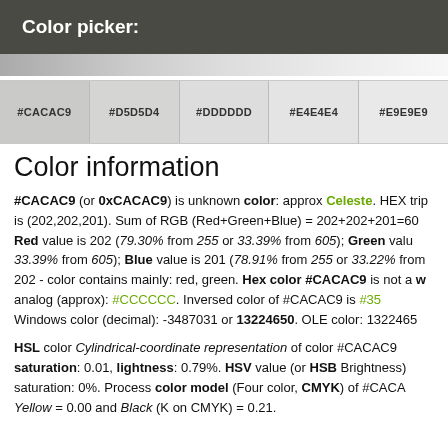Color picker:
[Figure (other): Partially visible color gradient/picker bar at top of content area]
| #CACAC9 | #D5D5D4 | #DDDDDD | #E4E4E4 | #E9E9E9 |
| --- | --- | --- | --- | --- |
Color information
#CACAC9 (or 0xCACAC9) is unknown color: approx Celeste. HEX trip is (202,202,201). Sum of RGB (Red+Green+Blue) = 202+202+201=60 Red value is 202 (79.30% from 255 or 33.39% from 605); Green valu 33.39% from 605); Blue value is 201 (78.91% from 255 or 33.22% from 202 - color contains mainly: red, green. Hex color #CACAC9 is not a w analog (approx): #CCCCCC. Inversed color of #CACAC9 is #35 Windows color (decimal): -3487031 or 13224650. OLE color: 1322465
HSL color Cylindrical-coordinate representation of color #CACAC9 saturation: 0.01, lightness: 0.79%. HSV value (or HSB Brightness) saturation: 0%. Process color model (Four color, CMYK) of #CACA Yellow = 0.00 and Black (K on CMYK) = 0.21.